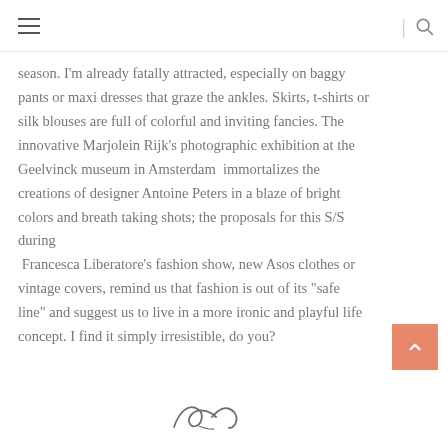☰ | 🔍
season. I'm already fatally attracted, especially on baggy pants or maxi dresses that graze the ankles. Skirts, t-shirts or silk blouses are full of colorful and inviting fancies. The innovative Marjolein Rijk's photographic exhibition at the Geelvinck museum in Amsterdam  immortalizes the creations of designer Antoine Peters in a blaze of bright colors and breath taking shots; the proposals for this S/S during
 Francesca Liberatore's fashion show, new Asos clothes or vintage covers, remind us that fashion is out of its "safe line" and suggest us to live in a more ironic and playful life concept. I find it simply irresistible, do you?
[Figure (illustration): Handwritten cursive signature at the bottom of the page]